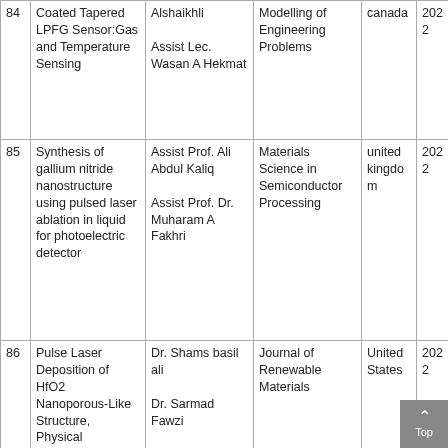| # | Title | Authors | Journal | Country | Year | IF |
| --- | --- | --- | --- | --- | --- | --- |
| 84 | Coated Tapered LPFG Sensor:Gas and Temperature Sensing | Alshaikhli
Assist Lec. Wasan A Hekmat | Modelling of Engineering Problems | canada | 2022 | 1.43 |
| 85 | Synthesis of gallium nitride nanostructure using pulsed laser ablation in liquid for photoelectric detector | Assist Prof. Ali Abdul Kaliq
Assist Prof. Dr. Muharam A Fakhri | Materials Science in Semiconductor Processing | united kingdom | 2022 | 2.644 |
| 86 | Pulse Laser Deposition of HfO2 Nanoporous-Like Structure, Physical Properties for Device Fabrication | Dr. Shams basil ali
Dr. Sarmad Fawzi
Dr. Evan T Salim | Journal of Renewable Materials | United States | 2022 | 2.115 |